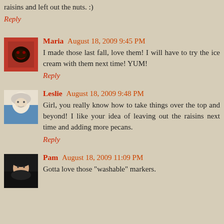raisins and left out the nuts. :)
Reply
[Figure (photo): Avatar image for Maria, red background with dark design]
Maria August 18, 2009 9:45 PM
I made those last fall, love them! I will have to try the ice cream with them next time! YUM!
Reply
[Figure (photo): Avatar photo of Leslie, elderly person in blue]
Leslie August 18, 2009 9:48 PM
Girl, you really know how to take things over the top and beyond! I like your idea of leaving out the raisins next time and adding more pecans.
Reply
[Figure (photo): Avatar photo of Pam, woman with dark hair]
Pam August 18, 2009 11:09 PM
Gotta love those "washable" markers.